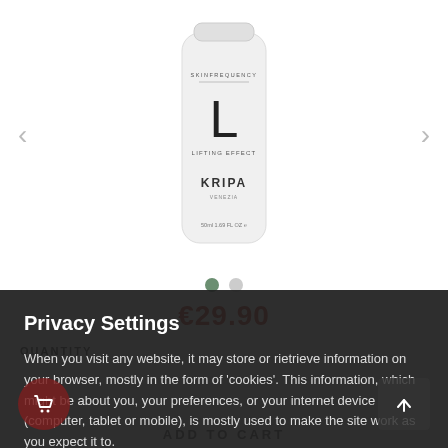[Figure (photo): White cylindrical skincare bottle labeled SKINFREQUENCY, L LIFTING EFFECT, KRIPA, 50ml 1.69 FL OZ, on white background]
€29.90
QUANTITY
Privacy Settings
When you visit any website, it may store or rietrieve information on your browser, mostly in the form of 'cookies'. This information, which might be about you, your preferences, or your internet device (computer, tablet or mobile), is mostly used to make the site work as you expect it to.
More info
Accept all
ADD TO CART